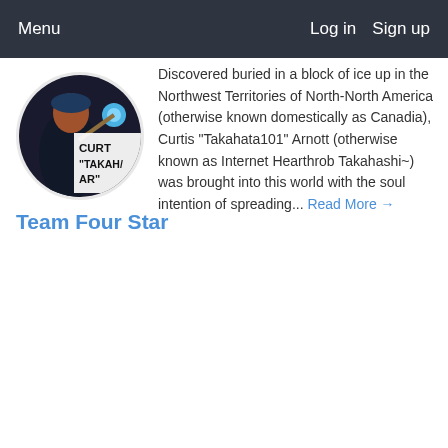Menu   Log in   Sign up
[Figure (photo): Circular profile avatar showing a character in dark costume holding a glowing object, with text overlay reading CURT "TAKAHA" AR]
Team Four Star
Discovered buried in a block of ice up in the Northwest Territories of North-North America (otherwise known domestically as Canadia), Curtis “Takahata101” Arnott (otherwise known as Internet Hearthrob Takahashi~) was brought into this world with the soul intention of spreading... Read More →